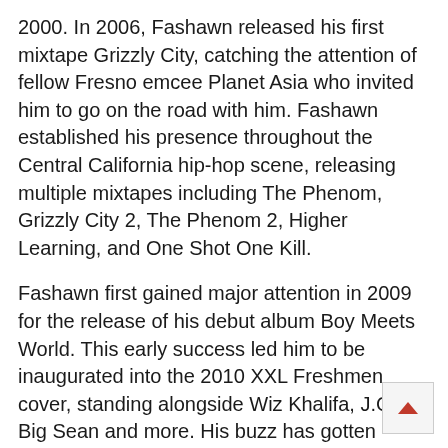2000. In 2006, Fashawn released his first mixtape Grizzly City, catching the attention of fellow Fresno emcee Planet Asia who invited him to go on the road with him. Fashawn established his presence throughout the Central California hip-hop scene, releasing multiple mixtapes including The Phenom, Grizzly City 2, The Phenom 2, Higher Learning, and One Shot One Kill.
Fashawn first gained major attention in 2009 for the release of his debut album Boy Meets World. This early success led him to be inaugurated into the 2010 XXL Freshmen cover, standing alongside Wiz Khalifa, J.Cole, Big Sean and more. His buzz has gotten increasingly stronger, from sharing the stage with notable stars such as Kendrick Lamar, Talib Kweli, Wiz Khalifa to performing at jam-packed shows like Rock the Bells and Paid Dues. He also performed the entrance theme song for boxing welterweight